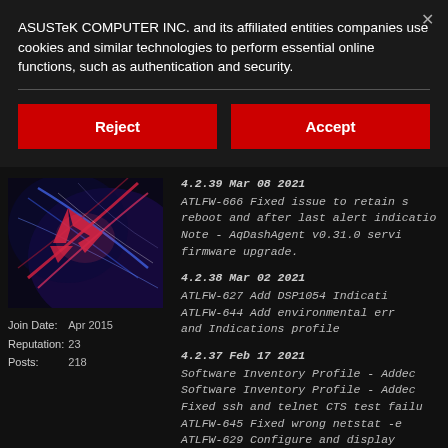ASUSTeK COMPUTER INC. and its affiliated entities companies use cookies and similar technologies to perform essential online functions, such as authentication and security.
Reject
Accept
[Figure (photo): ROG gaming logo with abstract colorful light streaks on dark background]
Join Date:	Apr 2015
Reputation:	23
Posts:	218
4.2.39 Mar 08 2021
ATLFW-666 Fixed issue to retain s... reboot and after last alert indicatio...
Note - AqDashAgent v0.31.0 servi... firmware upgrade.

4.2.38 Mar 02 2021
ATLFW-627 Add DSP1054 Indicati...
ATLFW-644 Add environmental err... and Indications profile

4.2.37 Feb 17 2021
Software Inventory Profile - Addec...
Software Inventory Profile - Addec...
Fixed ssh and telnet CTS test failu...
ATLFW-645 Fixed wrong netstat -e...
ATLFW-629 Configure and display...